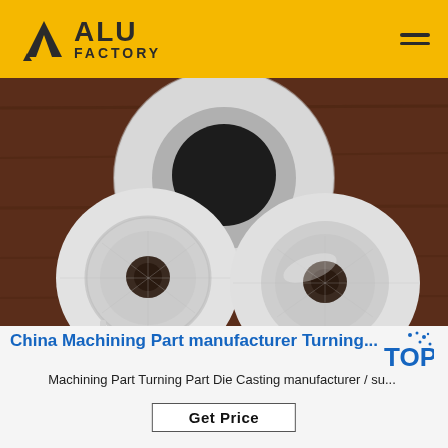ALU FACTORY
[Figure (photo): Three circular aluminum machined disc parts with center holes placed on a dark wooden surface. One large disc at the top center and two smaller discs at the bottom left and right.]
China Machining Part manufacturer Turning...
Machining Part Turning Part Die Casting manufacturer / su...
Get Price